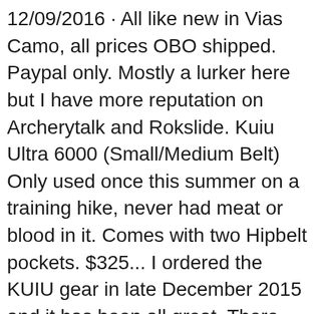12/09/2016 · All like new in Vias Camo, all prices OBO shipped. Paypal only. Mostly a lurker here but I have more reputation on Archerytalk and Rokslide. Kuiu Ultra 6000 (Small/Medium Belt) Only used once this summer on a training hike, never had meat or blood in it. Comes with two Hipbelt pockets. $325... I ordered the KUIU gear in late December 2015 and it has been all great. There are so bad reviews on here and my experience was quite the opposite. When I ordered the gear it shipped in a very reasonable amount of time and the product is phenomenal. Seam sealed and warm- the whole shebang. I was in -15 weather at 13k feet with a T and the Zip T